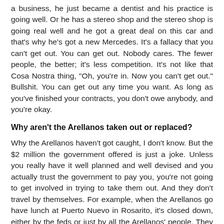a business, he just became a dentist and his practice is going well. Or he has a stereo shop and the stereo shop is going real well and he got a great deal on this car and that's why he's got a new Mercedes. It's a fallacy that you can't get out. You can get out. Nobody cares. The fewer people, the better; it's less competition. It's not like that Cosa Nostra thing, "Oh, you're in. Now you can't get out." Bullshit. You can get out any time you want. As long as you've finished your contracts, you don't owe anybody, and you're okay.
Why aren't the Arellanos taken out or replaced?
Why the Arellanos haven't got caught, I don't know. But the $2 million the government offered is just a joke. Unless you really have it well planned and well devised and you actually trust the government to pay you, you're not going to get involved in trying to take them out. And they don't travel by themselves. For example, when the Arellanos go have lunch at Puerto Nuevo in Rosarito, it's closed down, either by the feds or just by all the Arellanos' people. They might come in a helicopter, have lunch, and they're gone. They're not that accessible. It's not like, "Oh, they're down the street on a